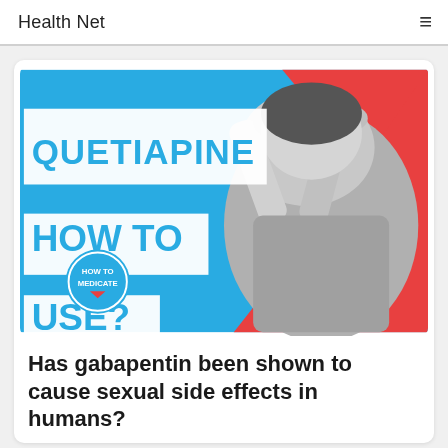Health Net
[Figure (illustration): Promotional health image with blue and red background showing a man in distress with his hands on his head. Bold text reads 'QUETIAPINE HOW TO USE?' with a circular badge reading 'HOW TO MEDICATE'.]
Has gabapentin been shown to cause sexual side effects in humans?